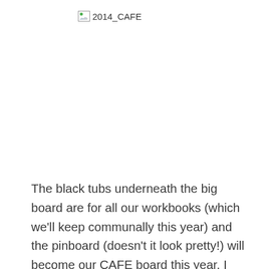[Figure (other): Broken image placeholder labeled '2014_CAFE']
The black tubs underneath the big board are for all our workbooks (which we'll keep communally this year) and the pinboard (doesn't it look pretty!) will become our CAFE board this year. I don't run Daily 5, but I am going to try and get better at consistently and explicitly teaching reading strategies this year. It's a movable board because none of my permanent board space is